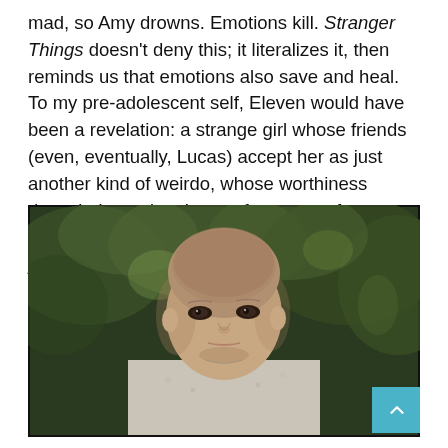mad, so Amy drowns. Emotions kill. Stranger Things doesn't deny this; it literalizes it, then reminds us that emotions also save and heal. To my pre-adolescent self, Eleven would have been a revelation: a strange girl whose friends (even, eventually, Lucas) accept her as just another kind of weirdo, whose worthiness doesn't depend on her performance of femininity, whose power is protective and not just destructive.
[Figure (photo): A young girl with a shaved head wearing a floral hospital gown, standing outdoors with blurred green foliage in the background. A teal scroll-to-top button is visible in the bottom-right corner of the image.]